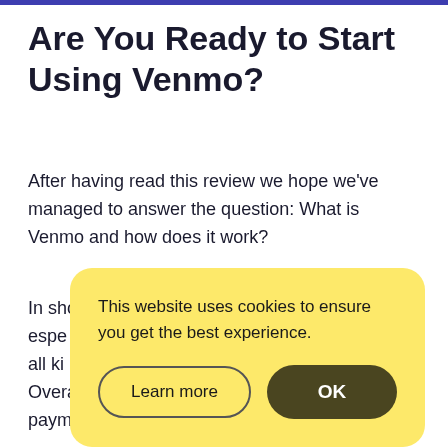Are You Ready to Start Using Venmo?
After having read this review we hope we've managed to answer the question: What is Venmo and how does it work?
In sho[...] espe[...] ling all ki[...] Overa[...] paym[...]
[Figure (screenshot): Cookie consent overlay with yellow background. Text reads: 'This website uses cookies to ensure you get the best experience.' Two buttons: 'Learn more' (outlined) and 'OK' (dark olive/brown filled).]